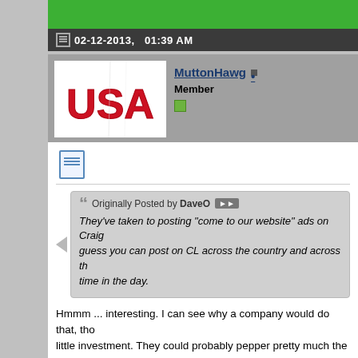02-12-2013,   01:39 AM
[Figure (photo): User avatar showing red USA text on white background]
MuttonHawg • Member
Originally Posted by DaveO — They've taken to posting "come to our website" ads on Craigslist. I guess you can post on CL across the country and across the world at any time in the day.
Hmmm ... interesting. I can see why a company would do that, though, for little investment. They could probably pepper pretty much the entire country and it would only take a few hours of work. Tactics like that don't really work, but if they're just looking for views, that'd get it done.
Everlast PowerArc 140ST